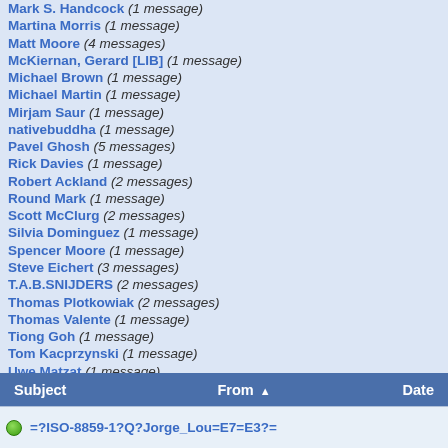Mark S. Handcock (1 message)
Martina Morris (1 message)
Matt Moore (4 messages)
McKiernan, Gerard [LIB] (1 message)
Michael Brown (1 message)
Michael Martin (1 message)
Mirjam Saur (1 message)
nativebuddha (1 message)
Pavel Ghosh (5 messages)
Rick Davies (1 message)
Robert Ackland (2 messages)
Round Mark (1 message)
Scott McClurg (2 messages)
Silvia Dominguez (1 message)
Spencer Moore (1 message)
Steve Eichert (3 messages)
T.A.B.SNIJDERS (2 messages)
Thomas Plotkowiak (2 messages)
Thomas Valente (1 message)
Tiong Goh (1 message)
Tom Kacprzynski (1 message)
Uwe Matzat (1 message)
Valdis Krebs (2 messages)
Van Cleemput Katrien (1 message)
Wolfe, Alvin (1 message)
Xi Zhu (1 message)
Zella King (1 message)
| Subject | From ▲ | Date |
| --- | --- | --- |
| =?ISO-8859-1?Q?Jorge_Lou=E7=E3?= |  |  |